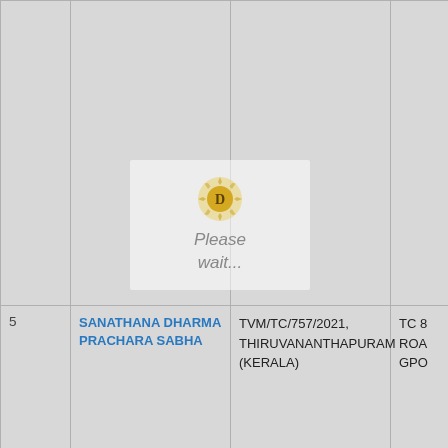| # | Name | Registration / City | Address |
| --- | --- | --- | --- |
|  |  |  |  |
| 5 | SANATHANA DHARMA PRACHARA SABHA | TVM/TC/757/2021, THIRUVANANTHAPURAM (KERALA) | TC 8 ROA GPO |
[Figure (other): Watermark overlay with a golden circular D emblem and 'Please wait...' text]